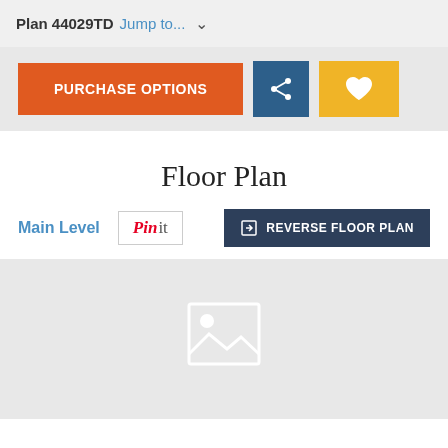Plan 44029TD Jump to...
PURCHASE OPTIONS
Floor Plan
Main Level
Pin it
REVERSE FLOOR PLAN
[Figure (photo): Floor plan image placeholder with image icon]